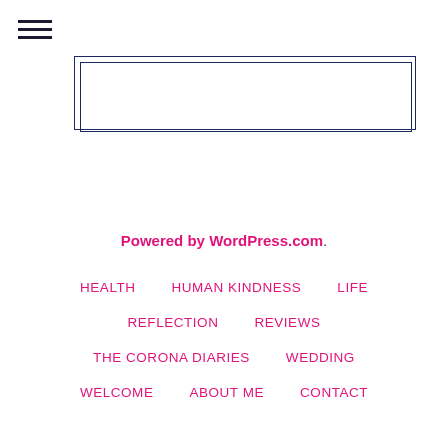[Figure (other): Hamburger menu icon (three horizontal lines)]
[Figure (other): Nested rectangular boxes forming a header/banner placeholder]
Powered by WordPress.com.
HEALTH
HUMAN KINDNESS
LIFE
REFLECTION
REVIEWS
THE CORONA DIARIES
WEDDING
WELCOME
ABOUT ME
CONTACT